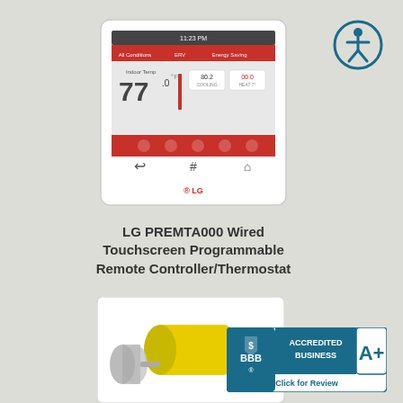[Figure (photo): LG PREMTA000 Wired Touchscreen Programmable Remote Controller/Thermostat device showing touchscreen display with 77°F indoor temperature readout]
[Figure (illustration): Accessibility icon — person in circle, teal outline]
LG PREMTA000 Wired Touchscreen Programmable Remote Controller/Thermostat
$270.60
[Figure (photo): Yellow cylindrical product components shown disassembled]
[Figure (logo): BBB Accredited Business A+ badge with Click for Review text]